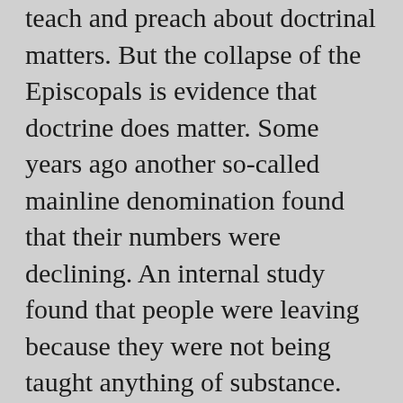teach and preach about doctrinal matters. But the collapse of the Episcopals is evidence that doctrine does matter. Some years ago another so-called mainline denomination found that their numbers were declining. An internal study found that people were leaving because they were not being taught anything of substance.
Some of our brethren believe the answer is to decrease our doctrinal teaching and decrease the discussion of the things that divide us from others. While their motives are pure, they method is flawed.